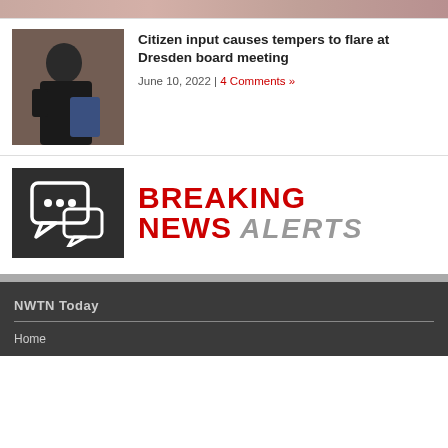[Figure (photo): Top strip showing partial photo, cropped at top of page]
[Figure (photo): Thumbnail photo of a woman in a black shirt sitting, viewed from the side]
Citizen input causes tempers to flare at Dresden board meeting
June 10, 2022 | 4 Comments »
[Figure (logo): Breaking News Alerts logo with dark background chat bubble icon and red/gray BREAKING NEWS ALERTS text]
NWTN Today
Home